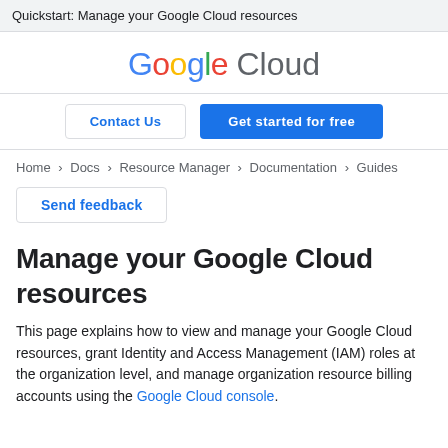Quickstart: Manage your Google Cloud resources
[Figure (logo): Google Cloud logo with multicolored 'Google' text and gray 'Cloud' text]
[Figure (screenshot): Two buttons: 'Contact Us' (outlined) and 'Get started for free' (blue filled)]
Home > Docs > Resource Manager > Documentation > Guides
[Figure (screenshot): Send feedback button with border]
Manage your Google Cloud resources
This page explains how to view and manage your Google Cloud resources, grant Identity and Access Management (IAM) roles at the organization level, and manage organization resource billing accounts using the Google Cloud console.